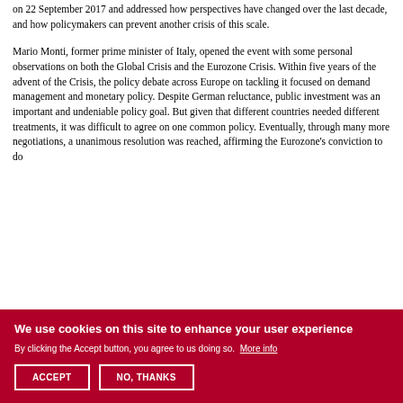on 22 September 2017 and addressed how perspectives have changed over the last decade, and how policymakers can prevent another crisis of this scale.
Mario Monti, former prime minister of Italy, opened the event with some personal observations on both the Global Crisis and the Eurozone Crisis. Within five years of the advent of the Crisis, the policy debate across Europe on tackling it focused on demand management and monetary policy. Despite German reluctance, public investment was an important and undeniable policy goal. But given that different countries needed different treatments, it was difficult to agree on one common policy. Eventually, through many more negotiations, a unanimous resolution was reached, affirming the Eurozone's conviction to do
We use cookies on this site to enhance your user experience
By clicking the Accept button, you agree to us doing so. More info
ACCEPT
NO, THANKS